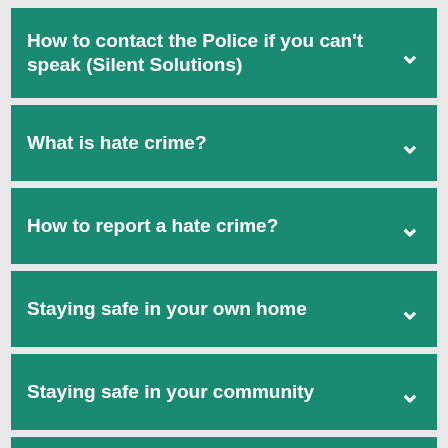How to contact the Police if you can't speak (Silent Solutions)
What is hate crime?
How to report a hate crime?
Staying safe in your own home
Staying safe in your community
What is the Rochdale Borough Safeguarding Adults Board?